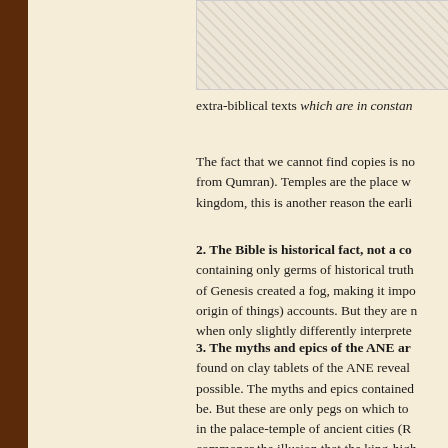[Figure (photo): Partial view of an ancient artifact or stone carving, shown at the top right of the page.]
extra-biblical texts which are in constan
The fact that we cannot find copies is no from Qumran). Temples are the place w kingdom, this is another reason the earli
2. The Bible is historical fact, not a co
containing only germs of historical truth of Genesis created a fog, making it impo origin of things) accounts. But they are n when only slightly differently interprete
3. The myths and epics of the ANE ar
found on clay tablets of the ANE reveal possible. The myths and epics contained be. But these are only pegs on which to in the palace-temple of ancient cities (R commoner the illusion that the king-high “son of the god” (a different god in each wished from the people.